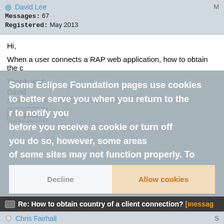David Lee
Messages: 67
Registered: May 2013
Hi,

When a user connects a RAP web application, how to obtain the c

Thank you!

David
[Updated on: Sun, 24 February 2019 08:06]
[Figure (screenshot): Cookie consent overlay banner reading: Some Eclipse Foundation pages use cookies to better serve you when you return to the [site]. [You can set your browser] to notify you before you receive a cookie or turn off [cookies]. If you do so, however, some areas of some sites may not function properly. To [learn more...] click here. Buttons: Decline | Allow cookies]
Re: How to obtain country of a client connection? [messag
Chris Fairhall
Messages: 221
Registered: February 2011
RWT.getRequest returns an HttpServletRequest
From there it's up to you to determine the IP address and from the